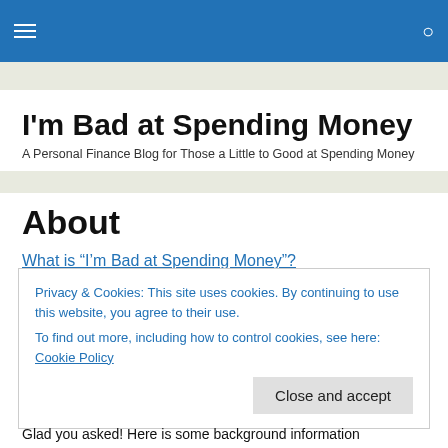I'm Bad at Spending Money
A Personal Finance Blog for Those a Little to Good at Spending Money
About
What is “I’m Bad at Spending Money”?
“I’m Bad at Spending Money” is a personal finance blog
Privacy & Cookies: This site uses cookies. By continuing to use this website, you agree to their use.
To find out more, including how to control cookies, see here: Cookie Policy
Glad you asked! Here is some background information